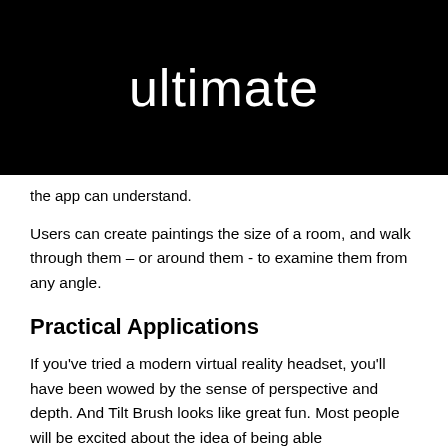ultimate
the app can understand.
Users can create paintings the size of a room, and walk through them – or around them - to examine them from any angle.
Practical Applications
If you've tried a modern virtual reality headset, you'll have been wowed by the sense of perspective and depth. And Tilt Brush looks like great fun. Most people will be excited about the idea of being able